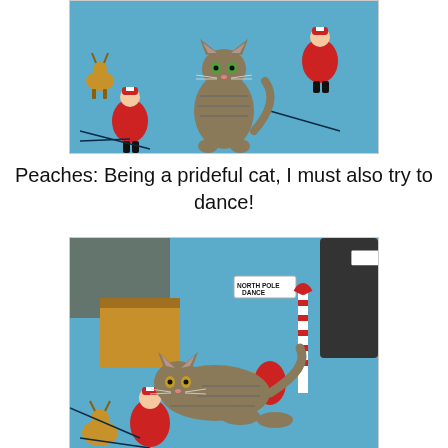[Figure (photo): A tabby cat sitting upright on a blue Christmas blanket featuring dancing Santa Claus figures and reindeer in red suits.]
Peaches:  Being a prideful cat, I must also try to dance!
[Figure (photo): A tabby cat lying on a blue Christmas blanket with dancing Santa and reindeer figures. A sign reading 'NORTH POLE DANCE' is visible in the background.]